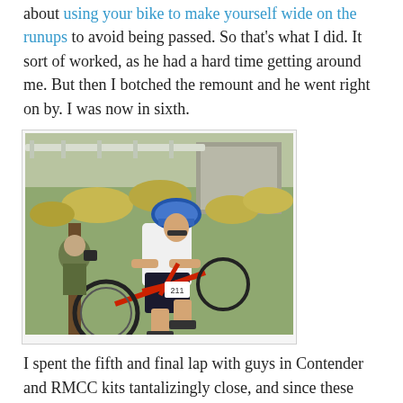about using your bike to make yourself wide on the runups to avoid being passed. So that's what I did. It sort of worked, as he had a hard time getting around me. But then I botched the remount and he went right on by. I was now in sixth.
[Figure (photo): A cyclist in a white jersey and blue helmet carrying a cyclocross bike past a fence post, with another person in camouflage visible in the background amid dry grass and a concrete structure.]
I spent the fifth and final lap with guys in Contender and RMCC kits tantalizingly close, and since these were the teams of people who had passed me, I worked to bring them back. As I got around them, I realized these were Masters 45 racers that I was catching, and their 35B teammates—the people I was actually racing against—were still up ahead